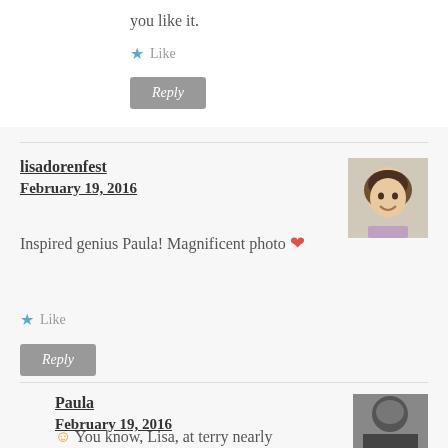you like it.
★ Like
Reply
lisadorenfest
February 19, 2016
[Figure (photo): Avatar photo of lisadorenfest: smiling woman with curly gray-black hair]
Inspired genius Paula! Magnificent photo ❤
★ Like
Reply
Paula
February 19, 2016
[Figure (photo): Avatar photo of Paula: black and white photo]
You know, Lisa, at terry nearly